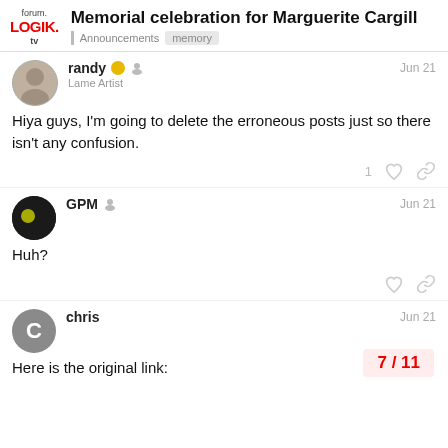forum.LOGIK.tv | Memorial celebration for Marguerite Cargill | Announcements | memory
randy Lame Artist Jun 21
Hiya guys, I'm going to delete the erroneous posts just so there isn't any confusion.
GPM Jun 21
Huh?
chris Jun 21
Here is the original link:
7 / 11